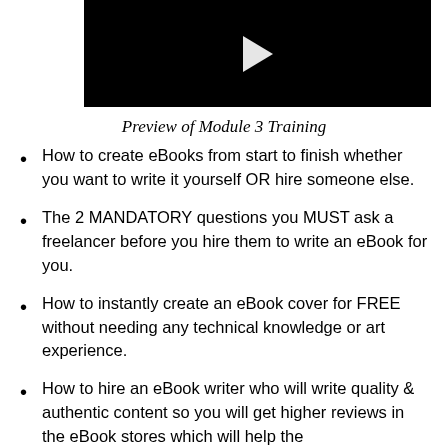[Figure (screenshot): Black video player thumbnail with white play button triangle in center]
Preview of Module 3 Training
How to create eBooks from start to finish whether you want to write it yourself OR hire someone else.
The 2 MANDATORY questions you MUST ask a freelancer before you hire them to write an eBook for you.
How to instantly create an eBook cover for FREE without needing any technical knowledge or art experience.
How to hire an eBook writer who will write quality & authentic content so you will get higher reviews in the eBook stores which will help the